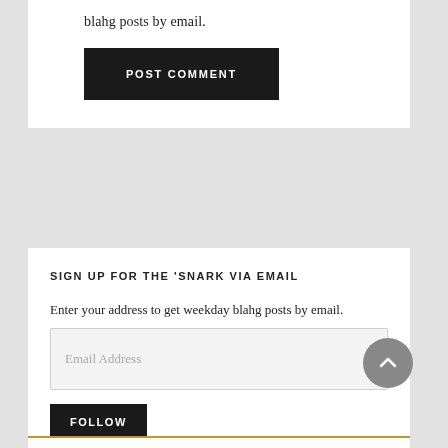blahg posts by email.
POST COMMENT
SIGN UP FOR THE 'SNARK VIA EMAIL
Enter your address to get weekday blahg posts by email.
Email Address
FOLLOW